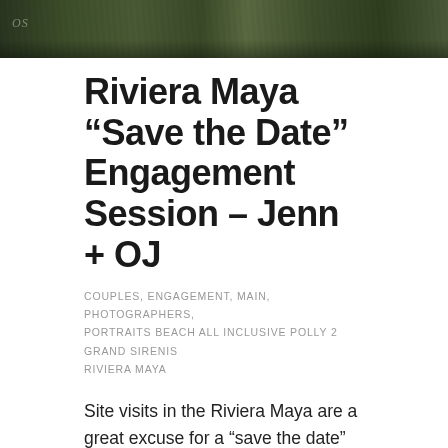[Figure (photo): Outdoor photo strip showing tropical vegetation, plants and rocky ground, with a watermark overlay]
Riviera Maya “Save the Date” Engagement Session – Jenn + OJ
COUPLES, ENGAGEMENT, MAIN, PHOTOGRAPHERS, PORTRAITS BEACH ALL INCLUSIVE POLLY 2 GRAND SIRENIS RIVIERA MAYA
Site visits in the Riviera Maya are a great excuse for a "save the date" sessions. It’s a wonderful opportunity for us to meet couples in person before the wedding day! We met Jenn and OJ while they were checking out Riviera Maya destination...